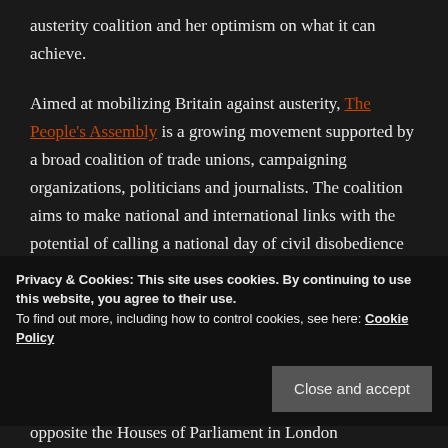austerity coalition and her optimism on what it can achieve.
Aimed at mobilizing Britain against austerity, The People's Assembly is a growing movement supported by a broad coalition of trade unions, campaigning organizations, politicians and journalists. The coalition aims to make national and international links with the potential of calling a national day of civil disobedience and direct action
Privacy & Cookies: This site uses cookies. By continuing to use this website, you agree to their use.
To find out more, including how to control cookies, see here: Cookie Policy
Close and accept
opposite the Houses of Parliament in London